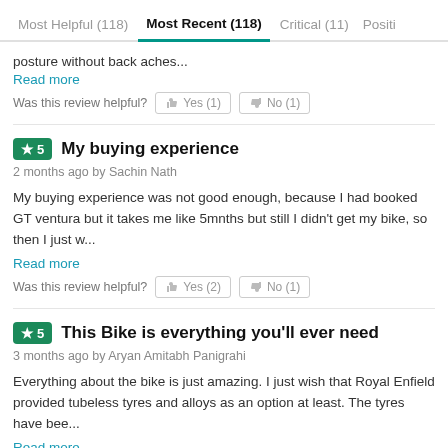Most Helpful (118)  Most Recent (118)  Critical (11)  Positi
posture without back aches...
Read more
Was this review helpful?  Yes (1)  No (1)
★5  My buying experience
2 months ago by Sachin Nath
My buying experience was not good enough, because I had booked GT ventura but it takes me like 5mnths but still I didn't get my bike, so then I just w...
Read more
Was this review helpful?  Yes (2)  No (1)
★5  This Bike is everything you'll ever need
3 months ago by Aryan Amitabh Panigrahi
Everything about the bike is just amazing. I just wish that Royal Enfield provided tubeless tyres and alloys as an option at least. The tyres have bee...
Read more
Was this review helpful?  Yes (0)  No (0)